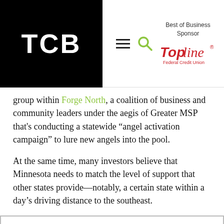TCB | Best of Business Sponsor TopLine Federal Credit Union
group within Forge North, a coalition of business and community leaders under the aegis of Greater MSP that's conducting a statewide “angel activation campaign” to lure new angels into the pool.
At the same time, many investors believe that Minnesota needs to match the level of support that other states provide—notably, a certain state within a day’s driving distance to the southeast.
When tech startups “are making $10 million to $20